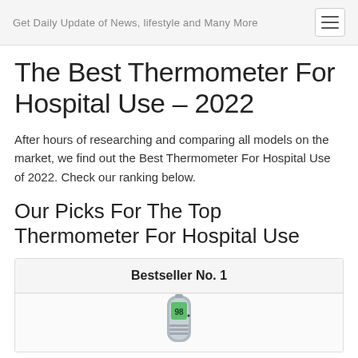Get Daily Update of News, lifestyle and Many More
The Best Thermometer For Hospital Use – 2022
After hours of researching and comparing all models on the market, we find out the Best Thermometer For Hospital Use of 2022. Check our ranking below.
Our Picks For The Top Thermometer For Hospital Use
Bestseller No. 1
[Figure (photo): Infrared thermometer showing a digital temperature reading of 98 degrees on a green LCD display, handheld device in grey/silver color]